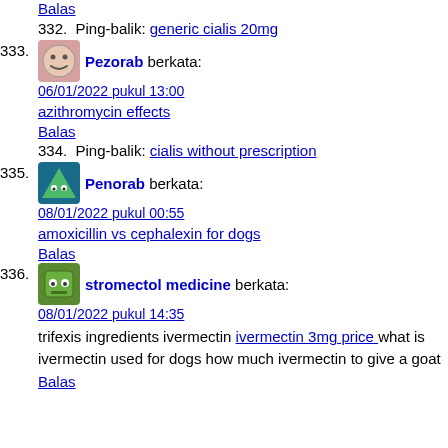Balas
332. Ping-balik: generic cialis 20mg
333. Pezorab berkata: 06/01/2022 pukul 13:00
azithromycin effects
Balas
334. Ping-balik: cialis without prescription
335. Penorab berkata: 08/01/2022 pukul 00:55
amoxicillin vs cephalexin for dogs
Balas
336. stromectol medicine berkata: 08/01/2022 pukul 14:35
trifexis ingredients ivermectin ivermectin 3mg price what is ivermectin used for dogs how much ivermectin to give a goat
Balas